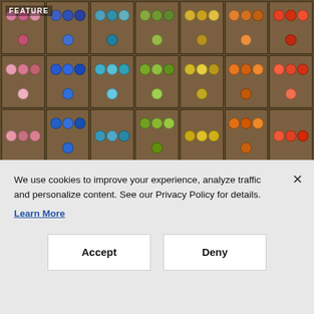[Figure (photo): Shelves with colorful thread spools organized in a wooden grid cabinet, showing multiple colors including pink, blue, teal, green, yellow, orange arranged in rows and columns.]
FEATURE
CUSTOMER EXPERIENCE
Is Your Org Chart Creating
We use cookies to improve your experience, analyze traffic and personalize content. See our Privacy Policy for details.
Learn More
Accept
Deny